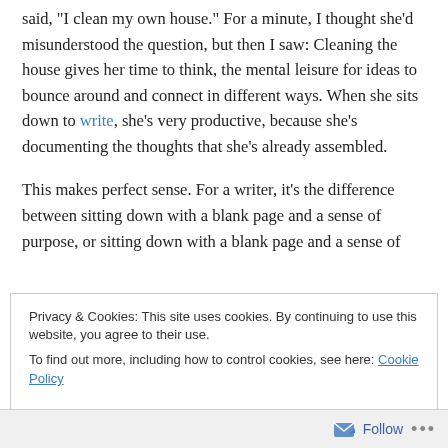said, “I clean my own house.” For a minute, I thought she’d misunderstood the question, but then I saw: Cleaning the house gives her time to think, the mental leisure for ideas to bounce around and connect in different ways. When she sits down to write, she’s very productive, because she’s documenting the thoughts that she’s already assembled.
This makes perfect sense. For a writer, it’s the difference between sitting down with a blank page and a sense of purpose, or sitting down with a blank page and a sense of
Privacy & Cookies: This site uses cookies. By continuing to use this website, you agree to their use.
To find out more, including how to control cookies, see here: Cookie Policy
Close and accept
Follow